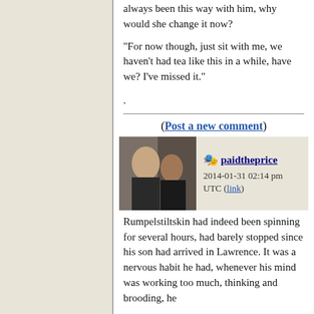always been this way with him, why would she change it now?
"For now though, just sit with me, we haven't had tea like this in a while, have we? I've missed it."
.
(Post a new comment)
[Figure (photo): A photo of two people, appears to be a TV show still. A man in a dark suit with a tie and a woman facing him.]
paidtheprice
2014-01-31 02:14 pm UTC (link)
Rumpelstiltskin had indeed been spinning for several hours, had barely stopped since his son had arrived in Lawrence. It was a nervous habit he had, whenever his mind was working too much, thinking and brooding, he